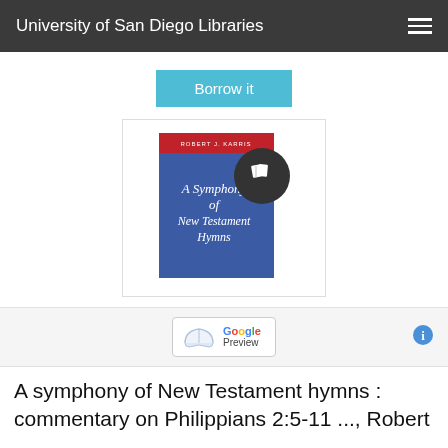University of San Diego Libraries
Borrow it
[Figure (illustration): Book cover of 'A Symphony of New Testament Hymns' by Robert J. Karris, with a dark blue and red cover and a book/overlay icon badge]
[Figure (logo): Google Preview button with an open book icon and the Google logo text in multi-color]
A symphony of New Testament hymns : commentary on Philippians 2:5-11 ..., Robert